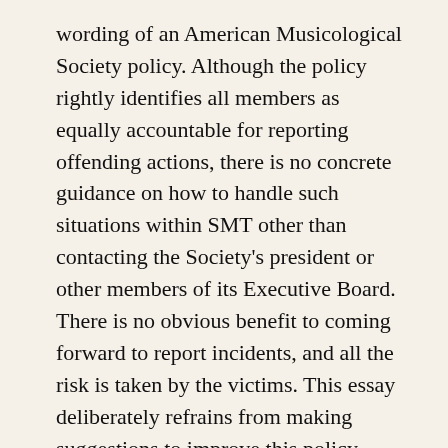wording of an American Musicological Society policy. Although the policy rightly identifies all members as equally accountable for reporting offending actions, there is no concrete guidance on how to handle such situations within SMT other than contacting the Society's president or other members of its Executive Board. There is no obvious benefit to coming forward to report incidents, and all the risk is taken by the victims. This essay deliberately refrains from making suggestions to improve this policy, since any proposed actions should be in consultation with the Society's membership.
Privacy in our Society, citizenship/membership